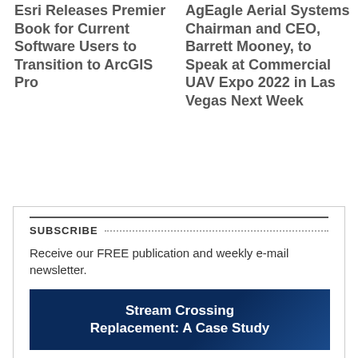Esri Releases Premier Book for Current Software Users to Transition to ArcGIS Pro
AgEagle Aerial Systems Chairman and CEO, Barrett Mooney, to Speak at Commercial UAV Expo 2022 in Las Vegas Next Week
SUBSCRIBE
Receive our FREE publication and weekly e-mail newsletter.
[Figure (other): Banner image with dark blue background and white bold text reading 'Stream Crossing Replacement: A Case Study']